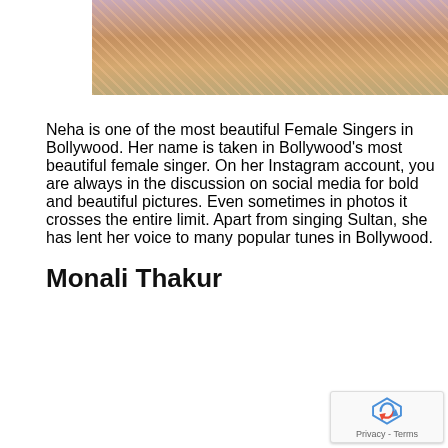[Figure (photo): Partial photo of a woman in an ornate, bejeweled pink and gold costume/outfit, cropped at the torso level]
Neha is one of the most beautiful Female Singers in Bollywood. Her name is taken in Bollywood's most beautiful female singer. On her Instagram account, you are always in the discussion on social media for bold and beautiful pictures. Even sometimes in photos it crosses the entire limit. Apart from singing Sultan, she has lent her voice to many popular tunes in Bollywood.
Monali Thakur
[Figure (photo): Photo of a smiling woman wearing a black beret hat and a black and white patterned scarf, with long dark hair, in an outdoor winter setting with greenery in the background]